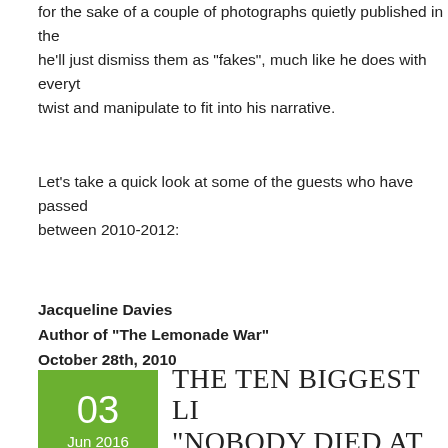for the sake of a couple of photographs quietly published in the he'll just dismiss them as “fakes”, much like he does with everyt twist and manipulate to fit into his narrative.
Let’s take a quick look at some of the guests who have passed between 2010-2012:
Jacqueline Davies
Author of “The Lemonade War”
October 28th, 2010
Read More →
[Figure (other): Green date box showing 03 Jun 2016]
THE TEN BIGGEST LI “NOBODY DIED AT SA HOOK”